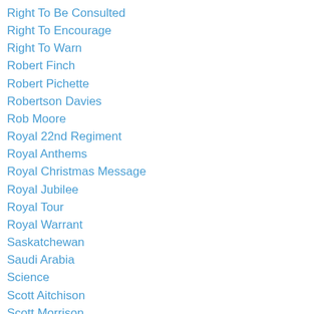Right To Be Consulted
Right To Encourage
Right To Warn
Robert Finch
Robert Pichette
Robertson Davies
Rob Moore
Royal 22nd Regiment
Royal Anthems
Royal Christmas Message
Royal Jubilee
Royal Tour
Royal Warrant
Saskatchewan
Saudi Arabia
Science
Scott Aitchison
Scott Morrison
Sir David Kirke
Sir Samuel Leonard Tilley
Six Nations